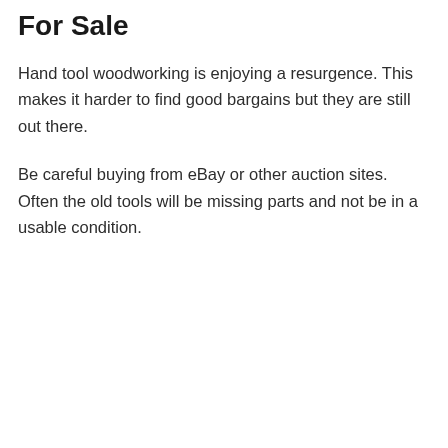For Sale
Hand tool woodworking is enjoying a resurgence. This makes it harder to find good bargains but they are still out there.
Be careful buying from eBay or other auction sites. Often the old tools will be missing parts and not be in a usable condition.